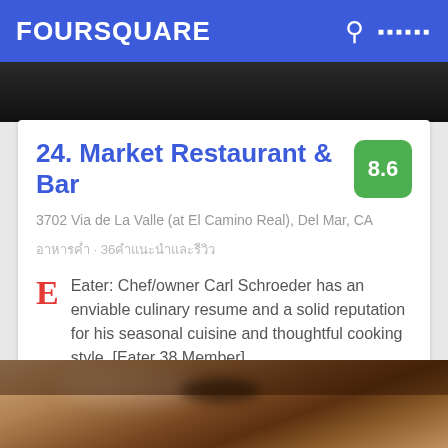FOURSQUARE
[Figure (photo): Dark restaurant interior photo strip at top]
24. Market Restaurant & Bar
3702 Via de La Valle (at El Camino Real), Del Mar, CA
อาหารค่ำ · 36คำแนะนำและรีวิว
Eater: Chef/owner Carl Schroeder has an enviable culinary resume and a solid reputation for his seasonal cuisine and thoughtful cooking style. [Eater 38 Member]
[Figure (photo): Food photo at bottom showing dessert with chocolate sauce]